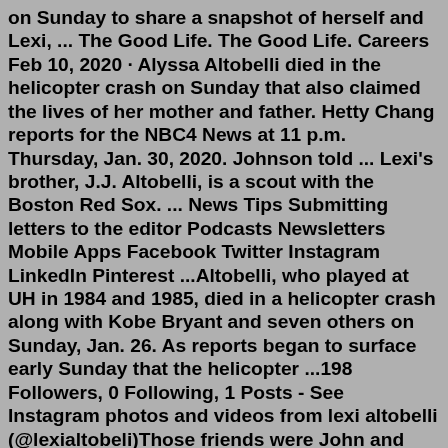on Sunday to share a snapshot of herself and Lexi, ... The Good Life. The Good Life. Careers Feb 10, 2020 · Alyssa Altobelli died in the helicopter crash on Sunday that also claimed the lives of her mother and father. Hetty Chang reports for the NBC4 News at 11 p.m. Thursday, Jan. 30, 2020. Johnson told ... Lexi's brother, J.J. Altobelli, is a scout with the Boston Red Sox. ... News Tips Submitting letters to the editor Podcasts Newsletters Mobile Apps Facebook Twitter Instagram LinkedIn Pinterest ...Altobelli, who played at UH in 1984 and 1985, died in a helicopter crash along with Kobe Bryant and seven others on Sunday, Jan. 26. As reports began to surface early Sunday that the helicopter ...198 Followers, 0 Following, 1 Posts - See Instagram photos and videos from lexi altobelli (@lexialtobeli)Those friends were John and Keri Altobelli, and Bryant was trying to assist their 16-year-old daughter Lexi Altobelli. Lexi's parents and younger sister Alyssa were also on the helicopter when ...College baseball coach John Altobelli, 56, was with his youngest daughter Alyssa, 13, and wife Keri, 46...